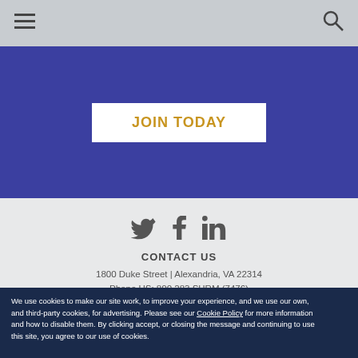Navigation bar with hamburger menu and search icon
[Figure (infographic): Blue banner with JOIN TODAY button]
[Figure (infographic): Social media icons: Twitter, Facebook, LinkedIn]
CONTACT US
1800 Duke Street | Alexandria, VA 22314
Phone US: 800.283.SHRM (7476)
Phone International: +1.703.548.3440
Email: certification@shrm.org
We use cookies to make our site work, to improve your experience, and we use our own, and third-party cookies, for advertising. Please see our Cookie Policy for more information and how to disable them. By clicking accept, or closing the message and continuing to use this site, you agree to our use of cookies.